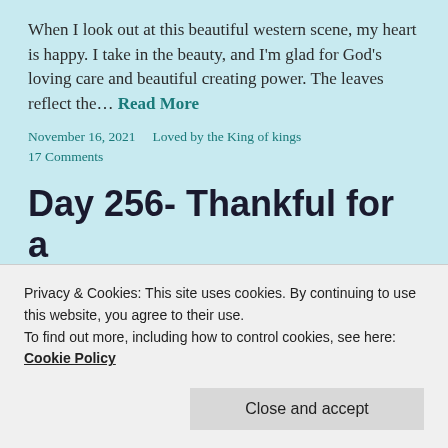When I look out at this beautiful western scene, my heart is happy. I take in the beauty, and I'm glad for God's loving care and beautiful creating power. The leaves reflect the… Read More
November 16, 2021    Loved by the King of kings
17 Comments
Day 256- Thankful for a shoe lesson
[Figure (photo): Dark gradient image strip at top of article photo]
Privacy & Cookies: This site uses cookies. By continuing to use this website, you agree to their use.
To find out more, including how to control cookies, see here:
Cookie Policy
Close and accept